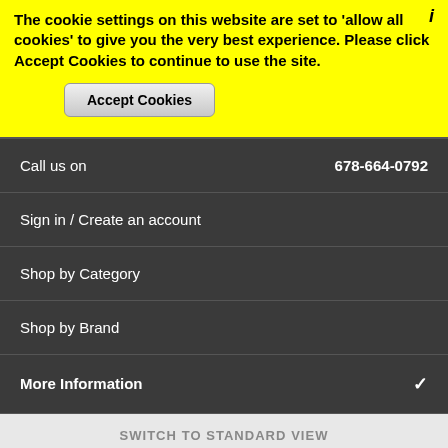The cookie settings on this website are set to 'allow all cookies' to give you the very best experience. Please click Accept Cookies to continue to use the site.
Accept Cookies
Call us on 678-664-0792
Sign in / Create an account
Shop by Category
Shop by Brand
More Information
SWITCH TO STANDARD VIEW
Copyright 2022 Bow Shop Supply